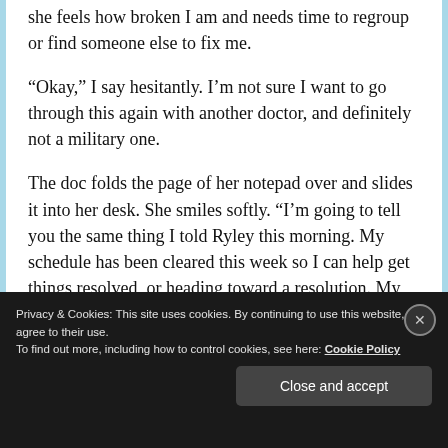she feels how broken I am and needs time to regroup or find someone else to fix me.
“Okay,” I say hesitantly. I’m not sure I want to go through this again with another doctor, and definitely not a military one.
The doc folds the page of her notepad over and slides it into her desk. She smiles softly. “I’m going to tell you the same thing I told Ryley this morning. My schedule has been cleared this week so I can help get things resolved, or heading toward a resolution. My plan is to see you and Ryley together
Privacy & Cookies: This site uses cookies. By continuing to use this website, you agree to their use.
To find out more, including how to control cookies, see here: Cookie Policy
Close and accept